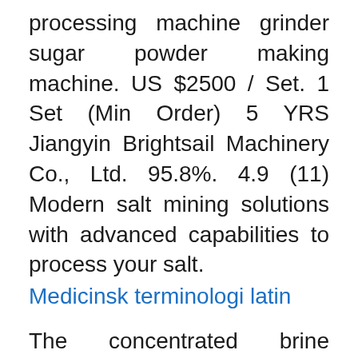processing machine grinder sugar powder making machine. US $2500 / Set. 1 Set (Min Order) 5 YRS Jiangyin Brightsail Machinery Co., Ltd. 95.8%. 4.9 (11) Modern salt mining solutions with advanced capabilities to process your salt.
Medicinsk terminologi latin
The concentrated brine precipitates the salt which is then gathered by mechanical harvesting machines. Any impurities that may be present in the brine are drained off and discarded prior to harvesting. Se hela listan på madehow.com The vertical packaging machine series RS model DV, is specially designed for the dosage and packaging of salt. It can be accompanied by a complements such as: · Extractor tape · Elevator to feed the packer · Vibrating Table · Thermal transfer encoder for dates